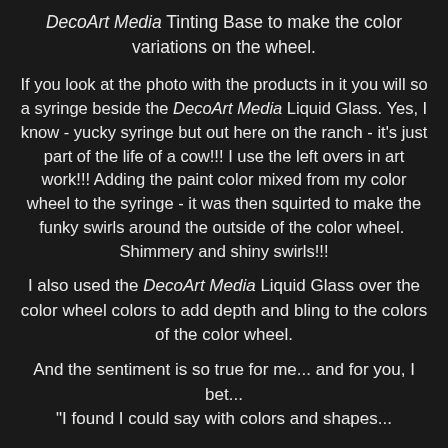DecoArt Media Tinting Base to make the color variations on the wheel.
If you look at the photo with the products in it you will so a syringe beside the DecoArt Media Liquid Glass. Yes, I know - yucky syringe but out here on the ranch - it's just part of the life of a cow!!! I use the left overs in art work!!! Adding the paint color mixed from my color wheel to the syringe - it was then squirted to make the funky swirls around the outside of the color wheel.  Shimmery and shiny swirls!!!
I also used the DecoArt Media Liquid Glass over the color wheel colors to add depth and bling to the colors of the color wheel.
And the sentiment is so true for me... and for you, I bet...
"I found I could say with colors and shapes...